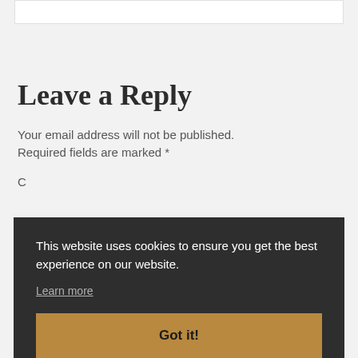Leave a Reply
Your email address will not be published. Required fields are marked *
C
This website uses cookies to ensure you get the best experience on our website.
Learn more
Got it!